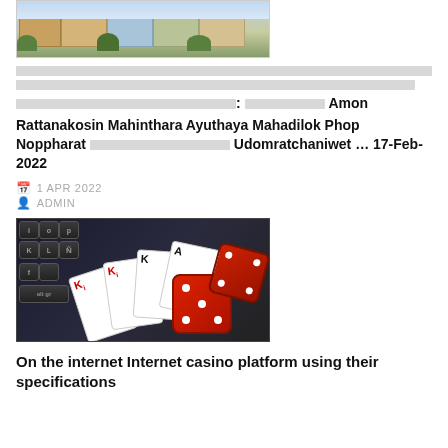[Figure (photo): Photo of Victorian row houses with colorful facades and green trees in front]
xxxxxxxxxxxxxxxxxxxxxxxxxxxxxxxxxxxxxxxxxxxxxxxxxxxxxxxxxxxxxxxxxxxxxxxxxxxxxxxxxxxxxxxxxxxxxxxxxxxxxxxxxxxxxxxxxxxxxxxxxxxxxxxxxxxxxxxxxxxxxxxxxxxxxxxxxxxxxxxxxxxxxxxxxxxxxxxxxxxxxxxx: xxxxxxxxxxxxxxxxxxxxxxxx Amon Rattanakosin Mahinthara Ayuthaya Mahadilok Phop Noppharat xxxxxxxxxxxxxxxxxxxxxxxxxxxxxxxxxxxxxxxx Udomratchaniwet … 17-Feb-2022
1 APR 2022
ADMIN
[Figure (photo): Photo of playing cards (Kings and Ace) and red dice on a keyboard background]
On the internet Internet casino platform using their specifications